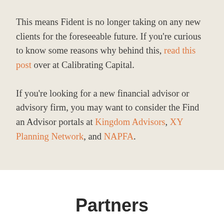This means Fident is no longer taking on any new clients for the foreseeable future. If you're curious to know some reasons why behind this, read this post over at Calibrating Capital.
If you're looking for a new financial advisor or advisory firm, you may want to consider the Find an Advisor portals at Kingdom Advisors, XY Planning Network, and NAPFA.
Partners